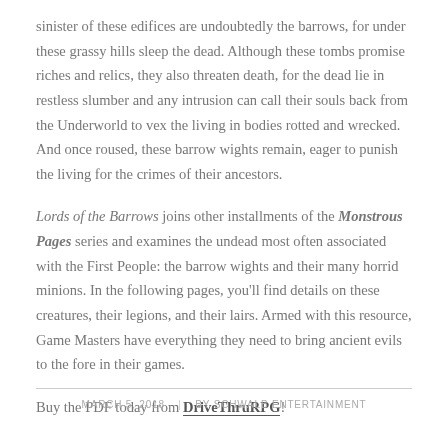sinister of these edifices are undoubtedly the barrows, for under these grassy hills sleep the dead. Although these tombs promise riches and relics, they also threaten death, for the dead lie in restless slumber and any intrusion can call their souls back from the Underworld to vex the living in bodies rotted and wrecked. And once roused, these barrow wights remain, eager to punish the living for the crimes of their ancestors.
Lords of the Barrows joins other installments of the Monstrous Pages series and examines the undead most often associated with the First People: the barrow wights and their many horrid minions. In the following pages, you’ll find details on these creatures, their legions, and their lairs. Armed with this resource, Game Masters have everything they need to bring ancient evils to the fore in their games.
Buy the PDF today from DriveThruRPG!
MARCH 5, 2018   |   BY SCHWALB ENTERTAINMENT